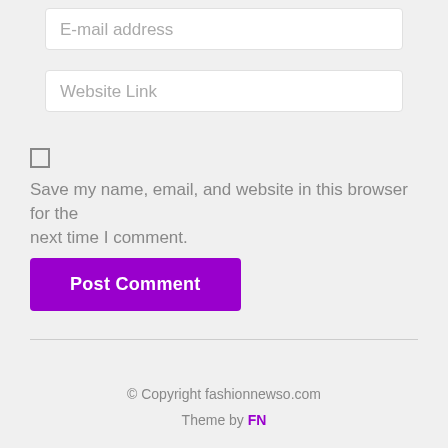[Figure (screenshot): E-mail address input field with placeholder text]
[Figure (screenshot): Website Link input field with placeholder text]
[Figure (screenshot): Checkbox (unchecked)]
Save my name, email, and website in this browser for the next time I comment.
[Figure (screenshot): Post Comment button in purple]
© Copyright fashionnewso.com
Theme by FN